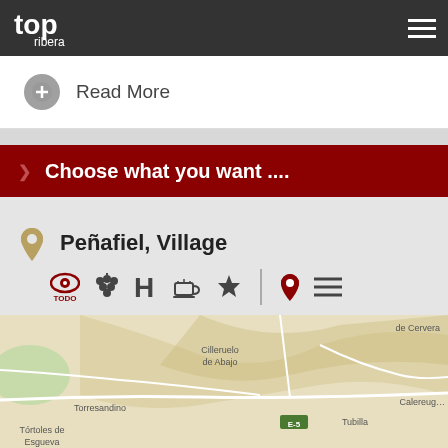Top Ribera
Read More
Choose what you want ....
Peñafiel, Village
[Figure (map): Map showing area around Peñafiel, with towns: Cilleruelo de Abajo, Torresandino, Tórtoles de Esgueva, Tubilla, Calereuga, de Cervera, road E-5]
Utilizamos cookies para proporcionar una mejor experiencia en nuestro sitio - Cambiar configuración
CERRAR